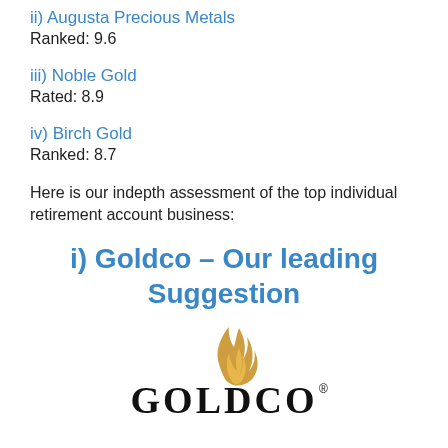ii) Augusta Precious Metals
Ranked: 9.6
iii) Noble Gold
Rated: 8.9
iv) Birch Gold
Ranked: 8.7
Here is our indepth assessment of the top individual retirement account business:
i) Goldco – Our leading Suggestion
[Figure (logo): Goldco logo with golden flame/swirl icon above stylized text reading GOLDCO with registered trademark symbol]